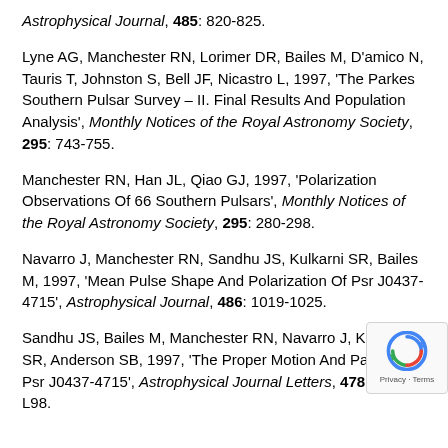Astrophysical Journal, 485: 820-825.
Lyne AG, Manchester RN, Lorimer DR, Bailes M, D'amico N, Tauris T, Johnston S, Bell JF, Nicastro L, 1997, 'The Parkes Southern Pulsar Survey – II. Final Results And Population Analysis', Monthly Notices of the Royal Astronomy Society, 295: 743-755.
Manchester RN, Han JL, Qiao GJ, 1997, 'Polarization Observations Of 66 Southern Pulsars', Monthly Notices of the Royal Astronomy Society, 295: 280-298.
Navarro J, Manchester RN, Sandhu JS, Kulkarni SR, Bailes M, 1997, 'Mean Pulse Shape And Polarization Of Psr J0437-4715', Astrophysical Journal, 486: 1019-1025.
Sandhu JS, Bailes M, Manchester RN, Navarro J, Kulkarni SR, Anderson SB, 1997, 'The Proper Motion And Parallax Of Psr J0437-4715', Astrophysical Journal Letters, 478: L95-L98.